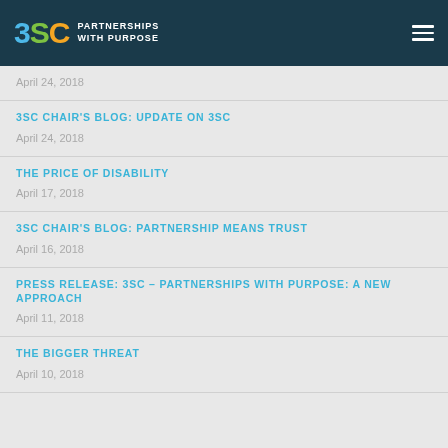3SC PARTNERSHIPS WITH PURPOSE
April 24, 2018
3SC CHAIR'S BLOG: UPDATE ON 3SC
April 24, 2018
THE PRICE OF DISABILITY
April 17, 2018
3SC CHAIR'S BLOG: PARTNERSHIP MEANS TRUST
April 16, 2018
PRESS RELEASE: 3SC – PARTNERSHIPS WITH PURPOSE: A NEW APPROACH
April 11, 2018
THE BIGGER THREAT
April 10, 2018